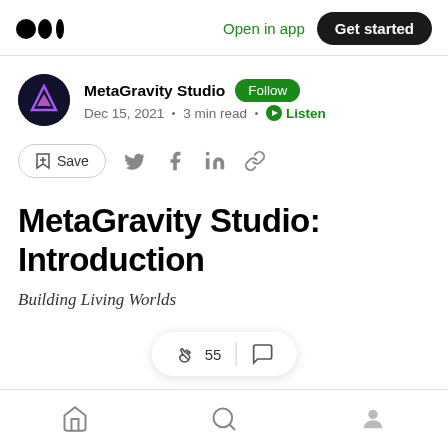Medium logo | Open in app | Get started
MetaGravity Studio · Follow · Dec 15, 2021 · 3 min read · Listen
Save (share bar with Twitter, Facebook, LinkedIn, link icons)
MetaGravity Studio: Introduction
Building Living Worlds
55 claps · comment icon
Home | Search | Profile (bottom navigation)